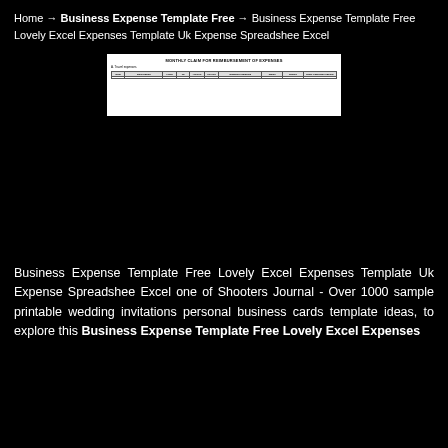Home → Business Expense Template Free → Business Expense Template Free Lovely Excel Expenses Template Uk Expense Spreadshee Excel
[Figure (screenshot): Screenshot of a MONTHLY CLAIM FOR REIMBURSEMENT OF EXPENSES spreadsheet template with a table showing columns for date, description, and expense categories.]
Business Expense Template Free Lovely Excel Expenses Template Uk Expense Spreadshee Excel one of Shooters Journal - Over 1000 sample printable wedding invitations personal business cards template ideas, to explore this Business Expense Template Free Lovely Excel Expenses